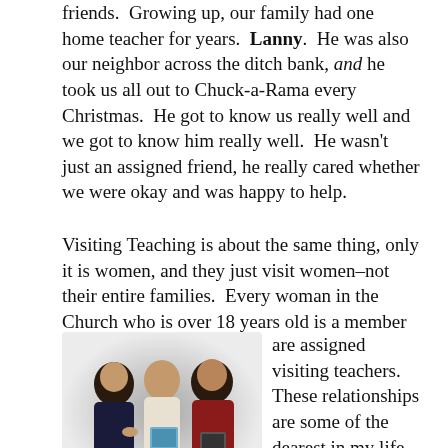friends.  Growing up, our family had one home teacher for years.  Lanny.  He was also our neighbor across the ditch bank, and he took us all out to Chuck-a-Rama every Christmas.  He got to know us really well and we got to know him really well.  He wasn't just an assigned friend, he really cared whether we were okay and was happy to help.
Visiting Teaching is about the same thing, only it is women, and they just visit women–not their entire families.  Every woman in the Church who is over 18 years old is a member of the Relief Society, and are assigned visiting teachers.  These relationships are some of the dearest in my life.  Again, at the beginning it may just feel like assigned
[Figure (photo): Three women sitting together, two appear to be reading or sharing books/materials, one holds a book with a blue cover. They are engaged in conversation.]